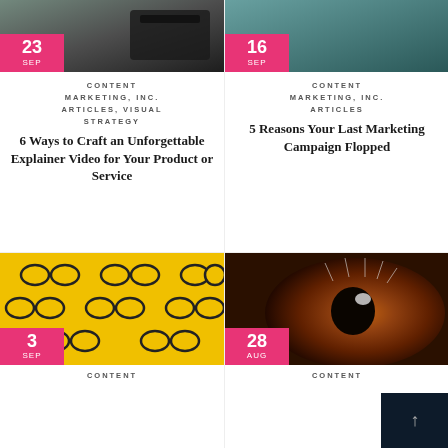[Figure (photo): Top-left card image with dark background, date badge: 23 SEP]
CONTENT
MARKETING, INC.
ARTICLES, VISUAL
STRATEGY
6 Ways to Craft an Unforgettable Explainer Video for Your Product or Service
[Figure (photo): Top-right card image with teal background, date badge: 16 SEP]
CONTENT
MARKETING, INC.
ARTICLES
5 Reasons Your Last Marketing Campaign Flopped
[Figure (photo): Bottom-left card image: yellow background with sunglasses pattern, date badge: 3 SEP]
CONTENT
[Figure (photo): Bottom-right card image: close-up of a human eye, date badge: 28 AUG]
CONTENT